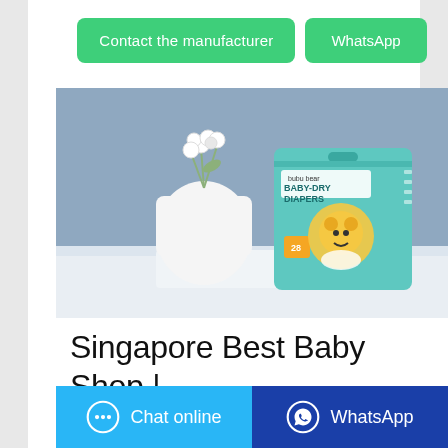[Figure (other): Two green rounded rectangle buttons side by side: 'Contact the manufacturer' and 'WhatsApp']
[Figure (photo): Product photo of 'bubu bear BABY-DRY DIAPERS' box (28 count) on a white surface with a white vase and white flowers against a blue-grey background]
Singapore Best Baby Shop | Buy Online at Mamahood.sg
[Figure (other): Footer bar with two buttons: light blue 'Chat online' with chat bubble icon, and dark blue 'WhatsApp' with WhatsApp logo]